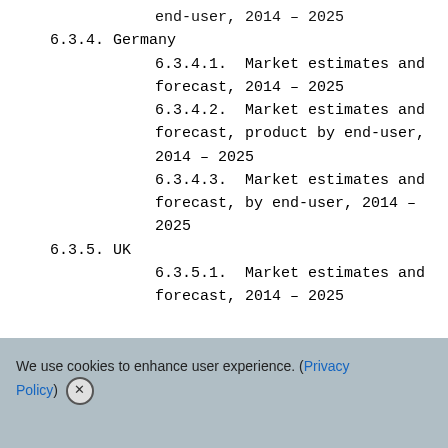end-user, 2014 – 2025
6.3.4. Germany
6.3.4.1. Market estimates and forecast, 2014 – 2025
6.3.4.2. Market estimates and forecast, product by end-user, 2014 – 2025
6.3.4.3. Market estimates and forecast, by end-user, 2014 – 2025
6.3.5. UK
6.3.5.1. Market estimates and forecast, 2014 – 2025
We use cookies to enhance user experience. (Privacy Policy)